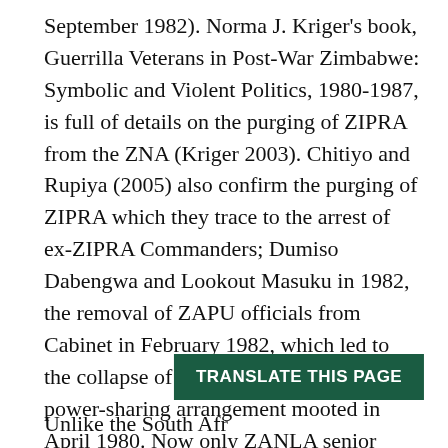September 1982). Norma J. Kriger's book, Guerrilla Veterans in Post-War Zimbabwe: Symbolic and Violent Politics, 1980-1987, is full of details on the purging of ZIPRA from the ZNA (Kriger 2003). Chitiyo and Rupiya (2005) also confirm the purging of ZIPRA which they trace to the arrest of ex-ZIPRA Commanders; Dumiso Dabengwa and Lookout Masuku in 1982, the removal of ZAPU officials from Cabinet in February 1982, which led to the collapse of the tripartite military power-sharing arrangement mooted in April 1980. Now only ZANLA senior cadres remained. Chitiyo and Rupiya (2005:341) add that: 'Much more significantly, from henceforth there was little to stop the full implementation of a factionally based security policy in the country'.⁶
[Figure (other): Green button with text 'TRANSLATE THIS PAGE']
Unlike the South Afr...